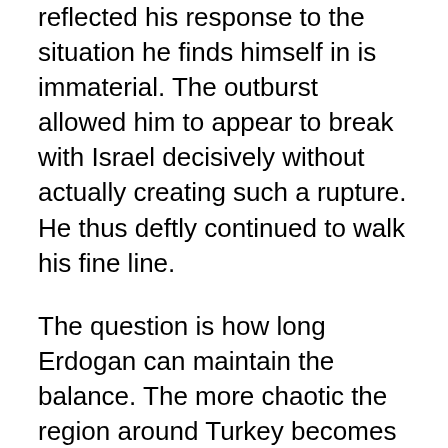reflected his response to the situation he finds himself in is immaterial. The outburst allowed him to appear to break with Israel decisively without actually creating such a rupture. He thus deftly continued to walk his fine line.
The question is how long Erdogan can maintain the balance. The more chaotic the region around Turkey becomes and the stronger Turkey gets, the more irresistible will be the sheer geopolitical pressure on Turkey to fill the vacuum. Add to that an expansionist ideology — a Turkish